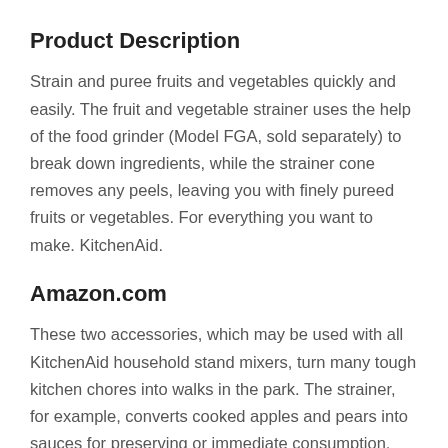Product Description
Strain and puree fruits and vegetables quickly and easily. The fruit and vegetable strainer uses the help of the food grinder (Model FGA, sold separately) to break down ingredients, while the strainer cone removes any peels, leaving you with finely pureed fruits or vegetables. For everything you want to make. KitchenAid.
Amazon.com
These two accessories, which may be used with all KitchenAid household stand mixers, turn many tough kitchen chores into walks in the park. The strainer, for example, converts cooked apples and pears into sauces for preserving or immediate consumption. Freezer jams are a snap; so is fresh tomato sauce. Baby foods can be